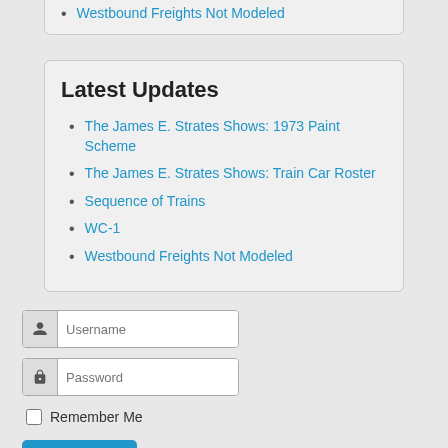Westbound Freights Not Modeled
Latest Updates
The James E. Strates Shows: 1973 Paint Scheme
The James E. Strates Shows: Train Car Roster
Sequence of Trains
WC-1
Westbound Freights Not Modeled
Username (input field)
Password (input field)
Remember Me
Log in
Forgot your username?